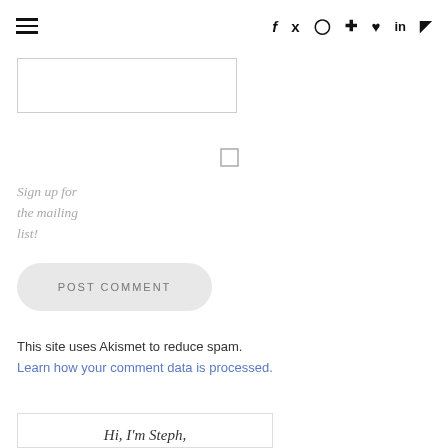≡  f  ✦  ◎  ⊕  ♥  in  ⌂
[Figure (screenshot): A text input box (comment form field)]
[Figure (screenshot): A checkbox (unchecked) for mailing list sign-up]
Sign up for the mailing list!
[Figure (screenshot): POST COMMENT button, rounded pill shape, light grey background]
This site uses Akismet to reduce spam. Learn how your comment data is processed.
[Figure (screenshot): Bio box with text 'Hi, I'm Steph,']